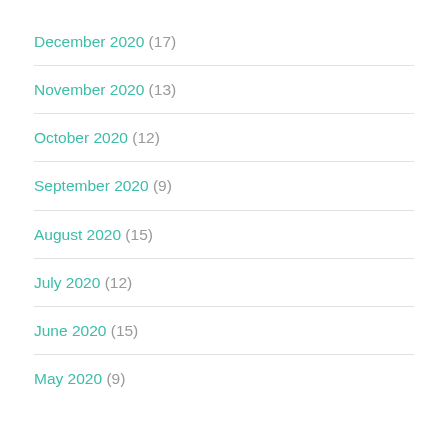December 2020 (17)
November 2020 (13)
October 2020 (12)
September 2020 (9)
August 2020 (15)
July 2020 (12)
June 2020 (15)
May 2020 (9)